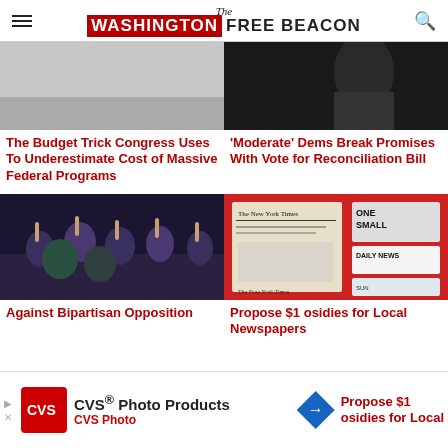The Washington Free Beacon
[Figure (photo): Aerial view of empty road/tarmac]
The Budget Trick Congress Uses To Underestimate Cost of Massive Federal Programs
[Figure (photo): Dark figure/person against dark background]
‘Moderate’ Dems Break Promises With Vote for Reconciliation Bill
[Figure (photo): Crowd of people with hands raised in a legislative chamber, masked attendees]
[Figure (photo): Newspaper stand showing The New York Times, Daily News, and other newspapers]
Against Bipartisan Opposition
Propose $1 osidies for Local Newspapers